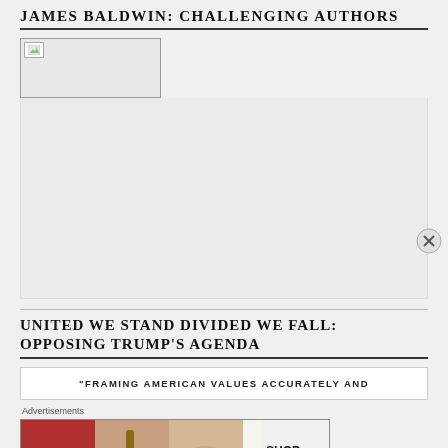JAMES BALDWIN: CHALLENGING AUTHORS
[Figure (photo): Small image placeholder with broken image icon]
UNITED WE STAND DIVIDED WE FALL: OPPOSING TRUMP'S AGENDA
“FRAMING AMERICAN VALUES ACCURATELY AND
Advertisements
[Figure (photo): Advertisement banner for Ulta Beauty with makeup product images and SHOP NOW text]